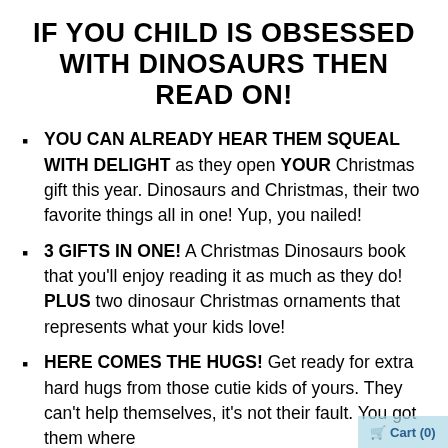IF YOU CHILD IS OBSESSED WITH DINOSAURS THEN READ ON!
YOU CAN ALREADY HEAR THEM SQUEAL WITH DELIGHT as they open YOUR Christmas gift this year. Dinosaurs and Christmas, their two favorite things all in one! Yup, you nailed!
3 GIFTS IN ONE! A Christmas Dinosaurs book that you'll enjoy reading it as much as they do! PLUS two dinosaur Christmas ornaments that represents what your kids love!
HERE COMES THE HUGS! Get ready for extra hard hugs from those cutie kids of yours. They can't help themselves, it's not their fault. You got them where